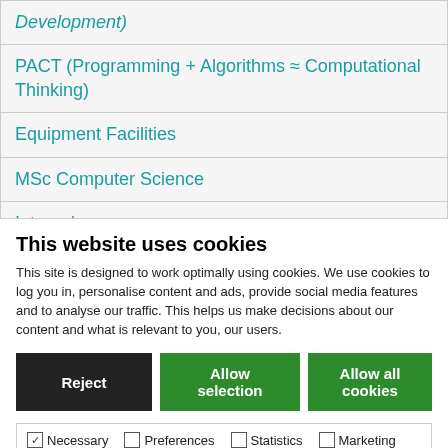Development)
PACT (Programming + Algorithms ≈ Computational Thinking)
Equipment Facilities
MSc Computer Science
Internal
Computer Science Summer School
Introductory Coding for Creatives: Using Scalable
This website uses cookies
This site is designed to work optimally using cookies. We use cookies to log you in, personalise content and ads, provide social media features and to analyse our traffic. This helps us make decisions about our content and what is relevant to you, our users.
Reject | Allow selection | Allow all cookies
Necessary  Preferences  Statistics  Marketing  Show details